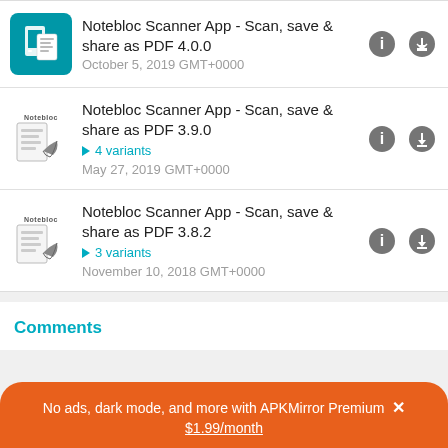Notebloc Scanner App - Scan, save & share as PDF 4.0.0
October 5, 2019 GMT+0000
Notebloc Scanner App - Scan, save & share as PDF 3.9.0
4 variants
May 27, 2019 GMT+0000
Notebloc Scanner App - Scan, save & share as PDF 3.8.2
3 variants
November 10, 2018 GMT+0000
Comments
No ads, dark mode, and more with APKMirror Premium × $1.99/month